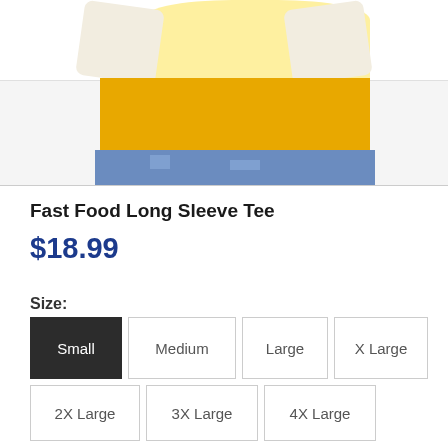[Figure (photo): Photo of person wearing a yellow/golden long sleeve tee shirt with light yellow upper portion and golden lower portion, paired with blue jeans. The image is cropped showing the torso area only.]
Fast Food Long Sleeve Tee
$18.99
Size:
Small (selected)
Medium
Large
X Large
2X Large
3X Large
4X Large